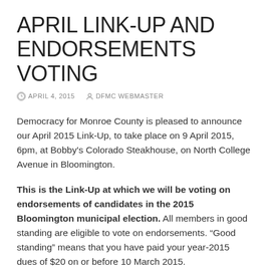APRIL LINK-UP AND ENDORSEMENTS VOTING
APRIL 4, 2015   DFMC WEBMASTER
Democracy for Monroe County is pleased to announce our April 2015 Link-Up, to take place on 9 April 2015, 6pm, at Bobby's Colorado Steakhouse, on North College Avenue in Bloomington.
This is the Link-Up at which we will be voting on endorsements of candidates in the 2015 Bloomington municipal election. All members in good standing are eligible to vote on endorsements. “Good standing” means that you have paid your year-2015 dues of $20 on or before 10 March 2015.
All candidates who have chosen to seek our endorsement have